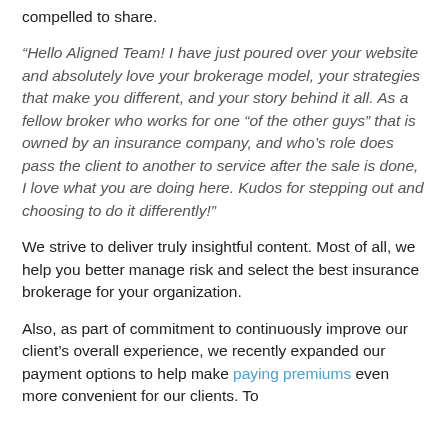compelled to share.
“Hello Aligned Team! I have just poured over your website and absolutely love your brokerage model, your strategies that make you different, and your story behind it all. As a fellow broker who works for one “of the other guys” that is owned by an insurance company, and who’s role does pass the client to another to service after the sale is done, I love what you are doing here. Kudos for stepping out and choosing to do it differently!”
We strive to deliver truly insightful content. Most of all, we help you better manage risk and select the best insurance brokerage for your organization.
Also, as part of commitment to continuously improve our client’s overall experience, we recently expanded our payment options to help make paying premiums even more convenient for our clients. To